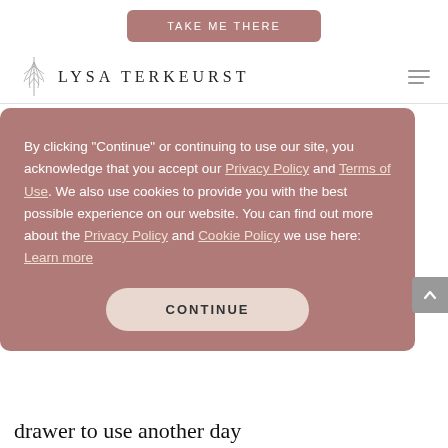[Figure (other): Take Me There promotional button - rounded rectangle with mauve/rose background, white uppercase text reading TAKE ME THERE]
[Figure (logo): Lysa TerKeurst logo with decorative leaf/botanical illustration and uppercase serif text LYSA TERKEURST]
put the extra stuff you'll need one day but not right now. We should have a
By clicking "Continue" or continuing to use our site, you acknowledge that you accept our Privacy Policy and Terms of Use. We also use cookies to provide you with the best possible experience on our website. You can find out more about the Privacy Policy and Cookie Policy we use here: Learn more
CONTINUE
drawer to use another day